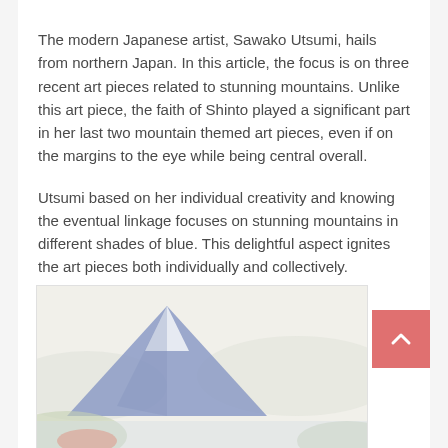The modern Japanese artist, Sawako Utsumi, hails from northern Japan. In this article, the focus is on three recent art pieces related to stunning mountains. Unlike this art piece, the faith of Shinto played a significant part in her last two mountain themed art pieces, even if on the margins to the eye while being central overall.
Utsumi based on her individual creativity and knowing the eventual linkage focuses on stunning mountains in different shades of blue. This delightful aspect ignites the art pieces both individually and collectively.
[Figure (illustration): A Japanese woodblock-style painting showing a blue-tinted mountain (resembling Mount Fuji) with soft pastel colors of blue, white, and muted greens, partially visible, cropped at bottom.]